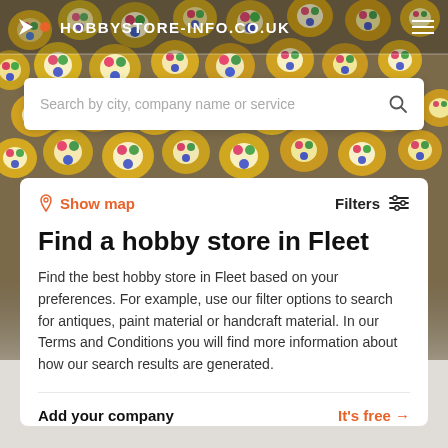[Figure (photo): Background photo of colorful enamel craft charms and decorative items in gold and mixed colors]
HOBBYSTORE-INFO.CO.UK
Search by city, company name or service
Show map    Filters
Find a hobby store in Fleet
Find the best hobby store in Fleet based on your preferences. For example, use our filter options to search for antiques, paint material or handcraft material. In our Terms and Conditions you will find more information about how our search results are generated.
Add your company    It's free →